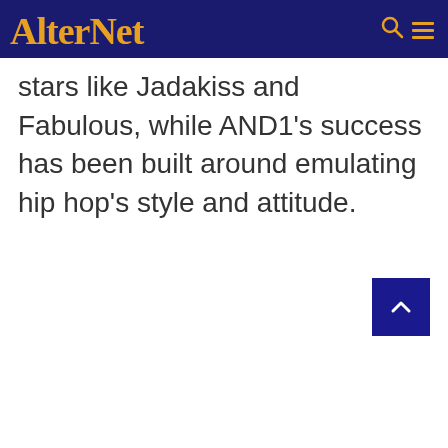AlterNet
stars like Jadakiss and Fabulous, while AND1's success has been built around emulating hip hop's style and attitude.